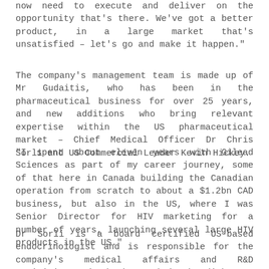now need to execute and deliver on the opportunity that's there. We've got a better product, in a large market that's unsatisfied – let's go and make it happen."
The company's management team is made up of Mr Gudaitis, who has been in the pharmaceutical business for over 25 years, and new additions who bring relevant expertise within the US pharmaceutical market – Chief Medical Officer Dr Chris Sorli and US Commercial Leader Kevin Hickey.
"I spent about eleven years with Gilead Sciences as part of my career journey, some of that here in Canada building the Canadian operation from scratch to about a $1.2bn CAD business, but also in the US, where I was Senior Director for HIV marketing for a number of years, launching several large HIV products in the US."
Dr Sorli is a board certified US-based endocrinologist and is responsible for the company's medical affairs and R&D activities. His background is in diabetes, metabolism and Men's Health.  He has previously organized and set-up a large men's and women's